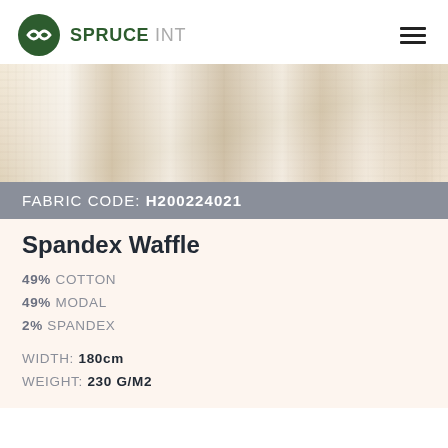SPRUCE INT
[Figure (photo): Close-up photo of cream/off-white waffle knit fabric with visible texture grid and soft folds creating shadow and highlight patterns.]
FABRIC CODE: H200224021
Spandex Waffle
49% COTTON
49% MODAL
2% SPANDEX
WIDTH: 180cm
WEIGHT: 230 G/M2